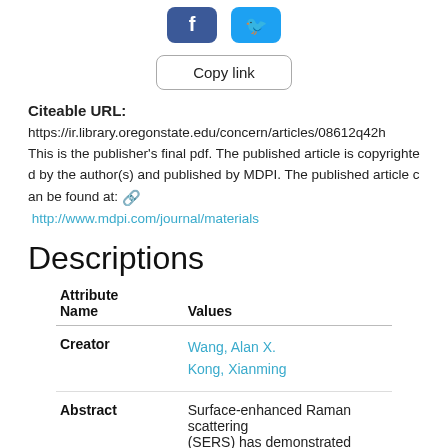[Figure (other): Social media share buttons (Facebook and Twitter) and a Copy link button]
Citeable URL:
https://ir.library.oregonstate.edu/concern/articles/08612q42h
This is the publisher's final pdf. The published article is copyrighted by the author(s) and published by MDPI. The published article can be found at: http://www.mdpi.com/journal/materials
Descriptions
| Attribute Name | Values |
| --- | --- |
| Creator | Wang, Alan X.
Kong, Xianming |
| Abstract | Surface-enhanced Raman scattering (SERS) has demonstrated single- |